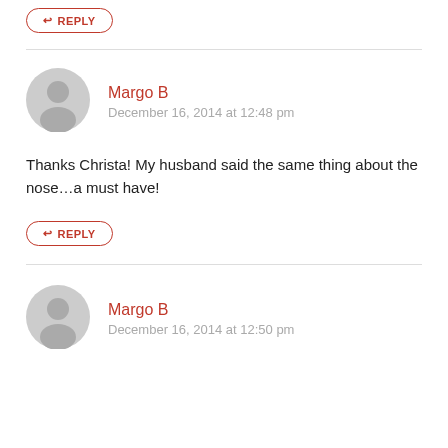REPLY
Margo B
December 16, 2014 at 12:48 pm
Thanks Christa! My husband said the same thing about the nose...a must have!
REPLY
Margo B
December 16, 2014 at 12:50 pm